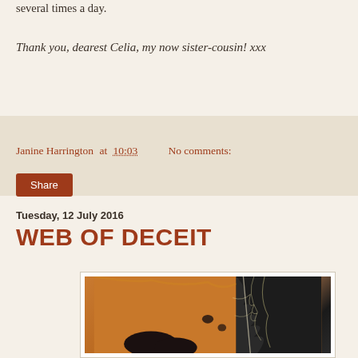several times a day.
Thank you, dearest Celia, my now sister-cousin! xxx
Janine Harrington at 10:03   No comments:
Share
Tuesday, 12 July 2016
WEB OF DECEIT
[Figure (photo): Abstract artwork with amber/orange background and black silhouetted figures with white branch-like patterns]